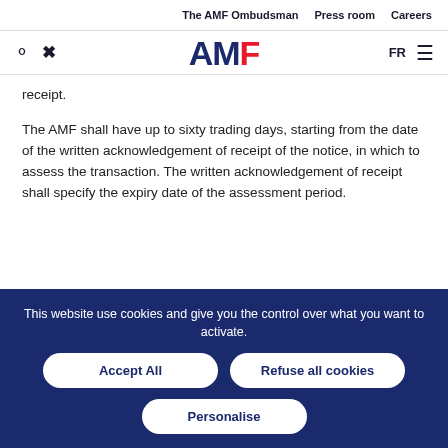The AMF Ombudsman  Press room  Careers
[Figure (logo): AMF logo with search and tools icons and FR language toggle and hamburger menu]
receipt.
The AMF shall have up to sixty trading days, starting from the date of the written acknowledgement of receipt of the notice, in which to assess the transaction. The written acknowledgement of receipt shall specify the expiry date of the assessment period.
This website use cookies and give you the control over what you want to activate.
Accept All
Refuse all cookies
Personalise